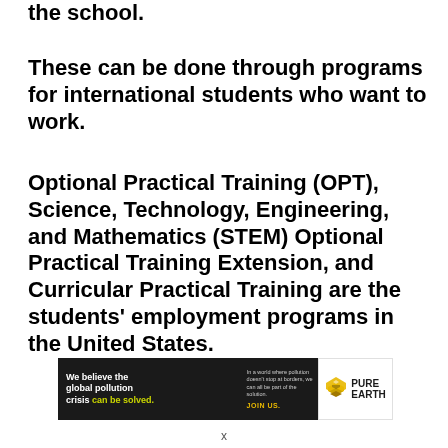the school.
These can be done through programs for international students who want to work.
Optional Practical Training (OPT), Science, Technology, Engineering, and Mathematics (STEM) Optional Practical Training Extension, and Curricular Practical Training are the students' employment programs in the United States.
[Figure (other): Advertisement banner for Pure Earth organization. Left side has dark background with text 'We believe the global pollution crisis can be solved.' in white and green. Middle section shows smaller text 'In a world where pollution doesn't stop at borders, we can all be part of the solution.' with 'JOIN US.' in yellow. Right side shows Pure Earth logo with diamond/layered icon and text 'PURE EARTH'.]
x